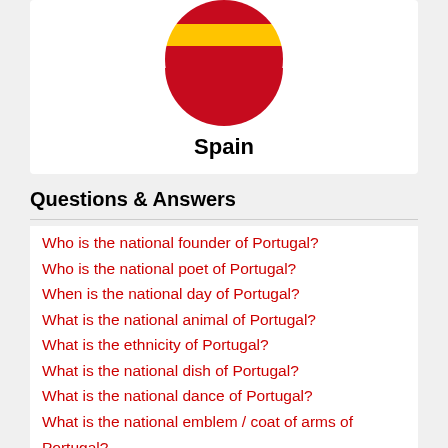[Figure (illustration): Circular flag of Spain showing yellow and red horizontal stripes, clipped to a circle shape]
Spain
Questions & Answers
Who is the national founder of Portugal?
Who is the national poet of Portugal?
When is the national day of Portugal?
What is the national animal of Portugal?
What is the ethnicity of Portugal?
What is the national dish of Portugal?
What is the national dance of Portugal?
What is the national emblem / coat of arms of Portugal?
What is the religion of Portugal?
What is the ISO-4217 of Portugal?
What is the domain extension of Portugal?
What is the national monument of Portugal?
What is the national anthem of Portugal?
What is the national fruit of Portugal?